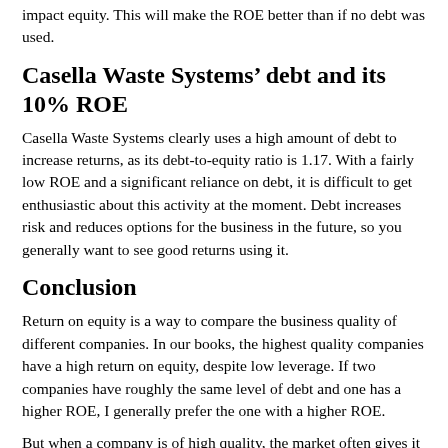impact equity. This will make the ROE better than if no debt was used.
Casella Waste Systems’ debt and its 10% ROE
Casella Waste Systems clearly uses a high amount of debt to increase returns, as its debt-to-equity ratio is 1.17. With a fairly low ROE and a significant reliance on debt, it is difficult to get enthusiastic about this activity at the moment. Debt increases risk and reduces options for the business in the future, so you generally want to see good returns using it.
Conclusion
Return on equity is a way to compare the business quality of different companies. In our books, the highest quality companies have a high return on equity, despite low leverage. If two companies have roughly the same level of debt and one has a higher ROE, I generally prefer the one with a higher ROE.
But when a company is of high quality, the market often gives it a price that reflects that. The rate at which earnings are likely to grow, relative to earnings growth expectations reflected in the